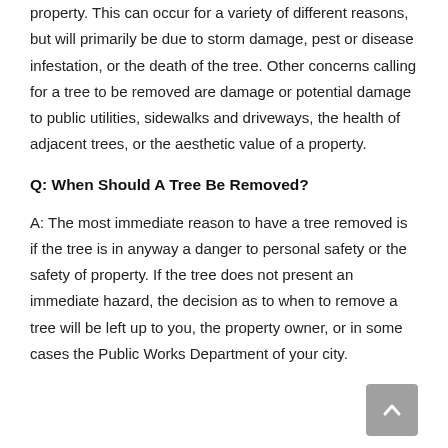property. This can occur for a variety of different reasons, but will primarily be due to storm damage, pest or disease infestation, or the death of the tree. Other concerns calling for a tree to be removed are damage or potential damage to public utilities, sidewalks and driveways, the health of adjacent trees, or the aesthetic value of a property.
Q: When Should A Tree Be Removed?
A: The most immediate reason to have a tree removed is if the tree is in anyway a danger to personal safety or the safety of property. If the tree does not present an immediate hazard, the decision as to when to remove a tree will be left up to you, the property owner, or in some cases the Public Works Department of your city.